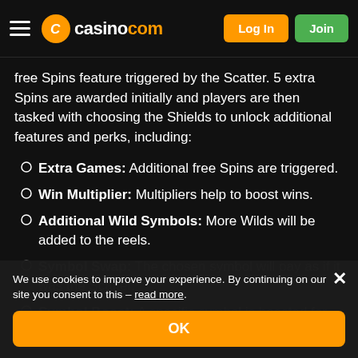casino.com — Log In | Join
free Spins feature triggered by the Scatter. 5 extra Spins are awarded initially and players are then tasked with choosing the Shields to unlock additional features and perks, including:
Extra Games: Additional free Spins are triggered.
Win Multiplier: Multipliers help to boost wins.
Additional Wild Symbols: More Wilds will be added to the reels.
Symbol Swap: The chosen symbol will pay as if it was the Scatter.
Symbol Boost: A specific symbol is boosted for better payouts.
We use cookies to improve your experience. By continuing on our site you consent to this – read more.